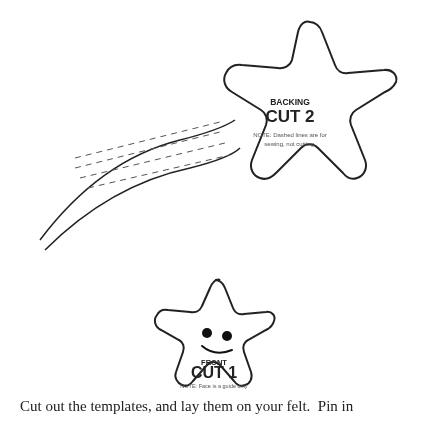[Figure (illustration): Sewing/craft template pattern showing two shooting stars. The large star (upper right) is labeled 'BACKING CUT 2' with a note 'NOTE: Dashed lines are for sewing, not cutting.' It has a comet tail with dashed lines extending to the left. The smaller star (lower left) has a cute face (two black dot eyes and a curved smile) and is labeled 'FRONT CUT 1' with a note 'NOTE: Face is a guide only'.]
Cut out the templates, and lay them on your felt.  Pin in